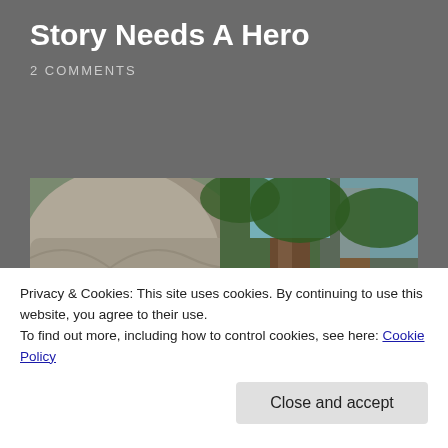Story Needs A Hero
2 COMMENTS
[Figure (photo): Outdoor photo of a person among large rocks and pine trees, appearing to be in a mountainous or rocky natural setting. A man is visible in the lower center area near a large boulder and tree trunk.]
Privacy & Cookies: This site uses cookies. By continuing to use this website, you agree to their use.
To find out more, including how to control cookies, see here: Cookie Policy
Close and accept